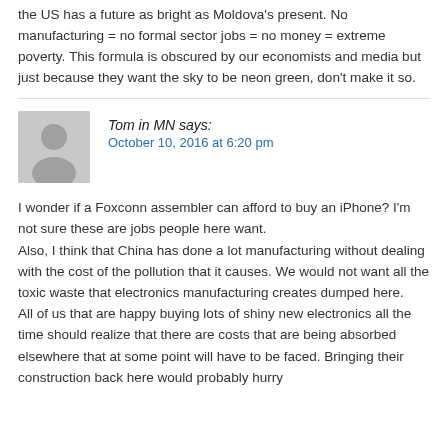the US has a future as bright as Moldova's present. No manufacturing = no formal sector jobs = no money = extreme poverty. This formula is obscured by our economists and media but just because they want the sky to be neon green, don't make it so.
Tom in MN says:
October 10, 2016 at 6:20 pm
[Figure (illustration): Generic user avatar placeholder: gray square with stylized person silhouette]
I wonder if a Foxconn assembler can afford to buy an iPhone? I'm not sure these are jobs people here want.
Also, I think that China has done a lot manufacturing without dealing with the cost of the pollution that it causes. We would not want all the toxic waste that electronics manufacturing creates dumped here.
All of us that are happy buying lots of shiny new electronics all the time should realize that there are costs that are being absorbed elsewhere that at some point will have to be faced. Bringing their construction back here would probably hurry